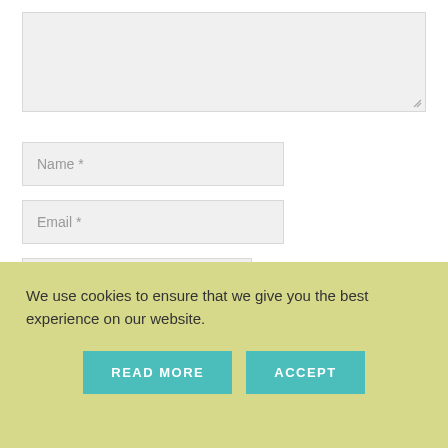[Figure (screenshot): Textarea input box (comment field) with resize handle at bottom right, light gray background]
Name *
Email *
Website
Save my name, email, and website in this
We use cookies to ensure that we give you the best experience on our website.
READ MORE
ACCEPT